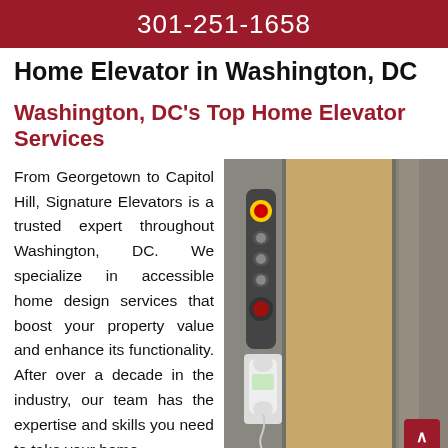301-251-1658
Home Elevator in Washington, DC
Washington, DC's Top Home Elevator Services
From Georgetown to Capitol Hill, Signature Elevators is a trusted expert throughout Washington, DC. We specialize in accessible home design services that boost your property value and enhance its functionality. After over a decade in the industry, our team has the expertise and skills you need to take your home
[Figure (photo): Close-up photo of a home elevator interior showing control panel with buttons, an emergency stop button, and a white intercom/telephone handset mounted on the elevator wall]